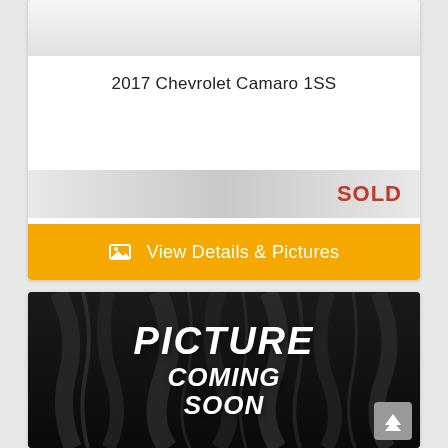[Figure (photo): Top portion of a vehicle listing card showing a light gray/white image area at top]
2017 Chevrolet Camaro 1SS
SOLD
View Details & Pictures
[Figure (photo): Black fabric/drape background with white bold italic text reading PICTURE COMING SOON]